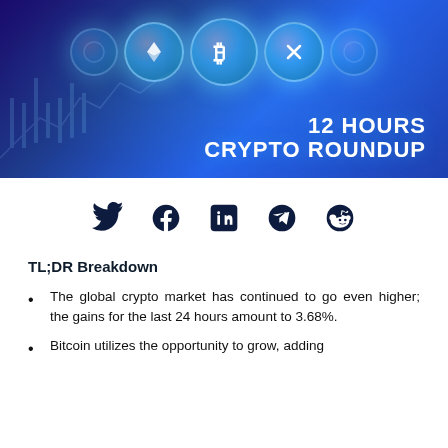[Figure (illustration): Banner with blue/purple gradient background showing crypto coin icons (Ethereum, Bitcoin, Ripple) and text '12 HOURS CRYPTO ROUNDUP']
[Figure (infographic): Row of social media icons: Twitter, Facebook, LinkedIn, Telegram, Reddit]
TL;DR Breakdown
The global crypto market has continued to go even higher; the gains for the last 24 hours amount to 3.68%.
Bitcoin utilizes the opportunity to grow, adding